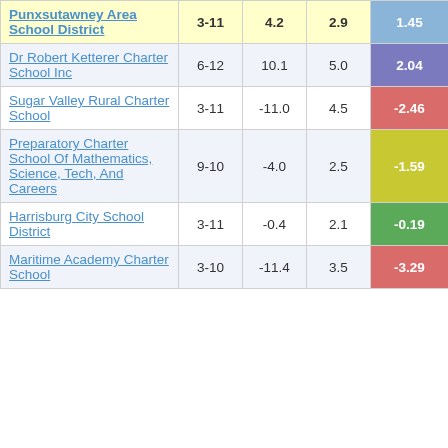| School/District | Grades | Col3 | Col4 | Score |
| --- | --- | --- | --- | --- |
| Punxsutawney Area School District | 3-11 | 4.2 | 2.9 | 1.45 |
| Dr Robert Ketterer Charter School Inc | 6-12 | 10.1 | 5.0 | 2.04 |
| Sugar Valley Rural Charter School | 3-11 | -11.0 | 4.5 | -2.46 |
| Preparatory Charter School Of Mathematics, Science, Tech, And Careers | 9-10 | -4.0 | 2.5 | -1.59 |
| Harrisburg City School District | 3-11 | -0.4 | 2.1 | -0.19 |
| Maritime Academy Charter School | 3-10 | -11.4 | 3.5 | -3.29 |